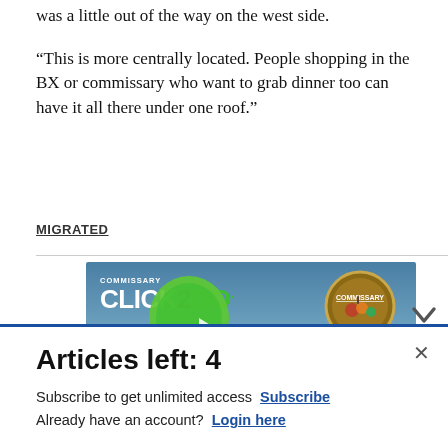was a little out of the way on the west side.
“This is more centrally located. People shopping in the BX or commissary who want to grab dinner too can have it all there under one roof.”
MIGRATED
[Figure (photo): Commissary Click2Go advertisement banner with logo, green circle, Commissary badge, and text 'order groceries | PICKUP']
Articles left: 4
Subscribe to get unlimited access Subscribe
Already have an account? Login here